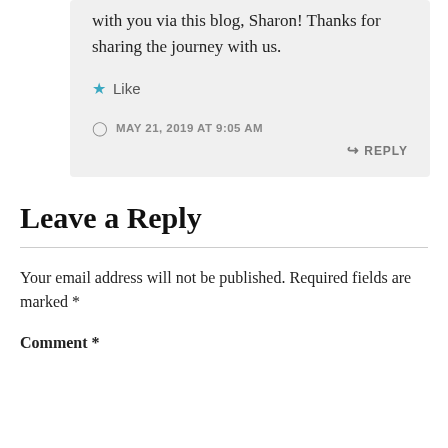with you via this blog, Sharon! Thanks for sharing the journey with us.
Like
MAY 21, 2019 AT 9:05 AM
REPLY
Leave a Reply
Your email address will not be published. Required fields are marked *
Comment *